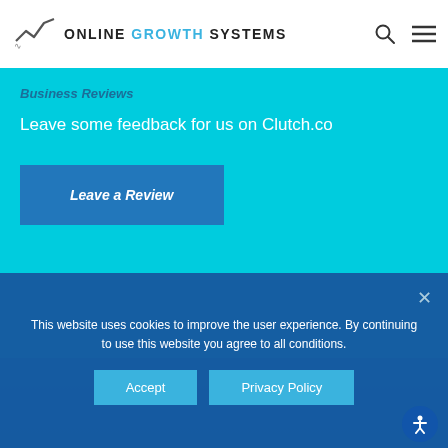[Figure (logo): Online Growth Systems logo with chart icon and text]
Business Reviews
Leave some feedback for us on Clutch.co
Leave a Review
This website uses cookies to improve the user experience. By continuing to use this website you agree to all conditions.
Accept
Privacy Policy